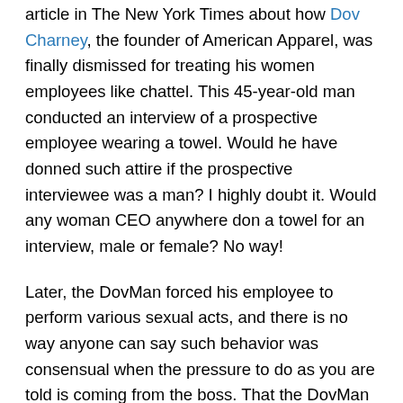article in The New York Times about how Dov Charney, the founder of American Apparel, was finally dismissed for treating his women employees like chattel. This 45-year-old man conducted an interview of a prospective employee wearing a towel. Would he have donned such attire if the prospective interviewee was a man? I highly doubt it. Would any woman CEO anywhere don a towel for an interview, male or female? No way!
Later, the DovMan forced his employee to perform various sexual acts, and there is no way anyone can say such behavior was consensual when the pressure to do as you are told is coming from the boss. That the DovMan is fighting to get his job back is laughable. Talk about a disconnect from reality.
But he is not the sole culprit. The article in the Times also referenced Dennis J. Wilson, the founder of the fitness